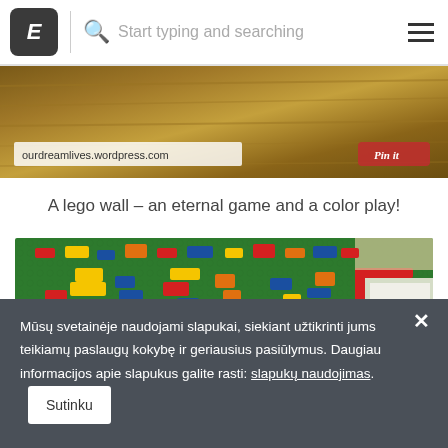E  Start typing and searching
[Figure (photo): Partial image showing a wooden surface with a URL overlay reading 'ourdreamlives.wordpress.com' and a Pinterest 'Pin it' button]
A lego wall – an eternal game and a color play!
[Figure (photo): Photo of a green Lego wall covered in colorful Lego bricks (red, yellow, blue, orange) with a window visible in the upper right]
Mūsų svetainėje naudojami slapukai, siekiant užtikrinti jums teikiamų paslaugų kokybę ir geriausius pasiūlymus. Daugiau informacijos apie slapukus galite rasti: slapukų naudojimas. Sutinku